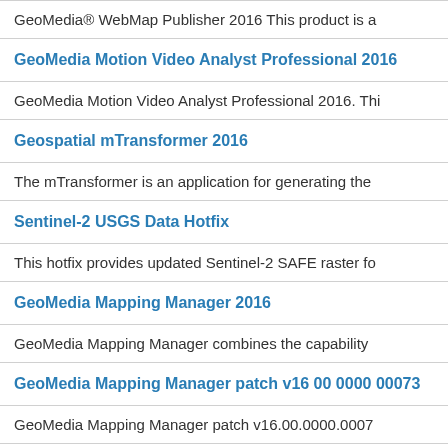GeoMedia® WebMap Publisher 2016 This product is a…
GeoMedia Motion Video Analyst Professional 2016
GeoMedia Motion Video Analyst Professional 2016. Thi…
Geospatial mTransformer 2016
The mTransformer is an application for generating the…
Sentinel-2 USGS Data Hotfix
This hotfix provides updated Sentinel-2 SAFE raster fo…
GeoMedia Mapping Manager 2016
GeoMedia Mapping Manager combines the capability…
GeoMedia Mapping Manager patch v16 00 0000 00073…
GeoMedia Mapping Manager patch v16.00.0000.0007…